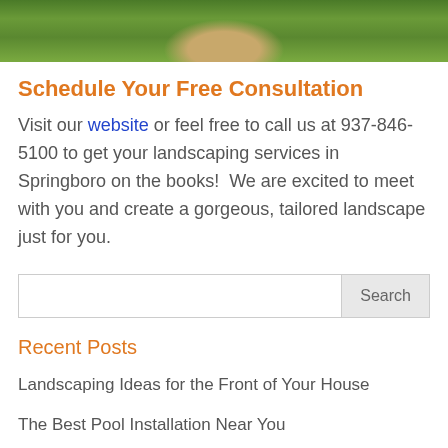[Figure (photo): Top portion of a photo showing green grass lawn and sandy/dirt area, partial view of landscaped outdoor scene]
Schedule Your Free Consultation
Visit our website or feel free to call us at 937-846-5100 to get your landscaping services in Springboro on the books!  We are excited to meet with you and create a gorgeous, tailored landscape just for you.
Search
Recent Posts
Landscaping Ideas for the Front of Your House
The Best Pool Installation Near You